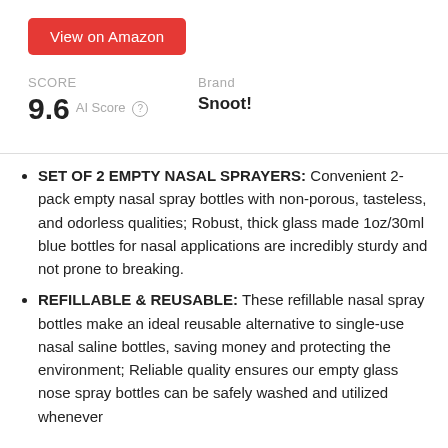[Figure (screenshot): Red 'View on Amazon' button]
SCORE
9.6 AI Score
Brand
Snoot!
SET OF 2 EMPTY NASAL SPRAYERS: Convenient 2-pack empty nasal spray bottles with non-porous, tasteless, and odorless qualities; Robust, thick glass made 1oz/30ml blue bottles for nasal applications are incredibly sturdy and not prone to breaking.
REFILLABLE & REUSABLE: These refillable nasal spray bottles make an ideal reusable alternative to single-use nasal saline bottles, saving money and protecting the environment; Reliable quality ensures our empty glass nose spray bottles can be safely washed and utilized whenever